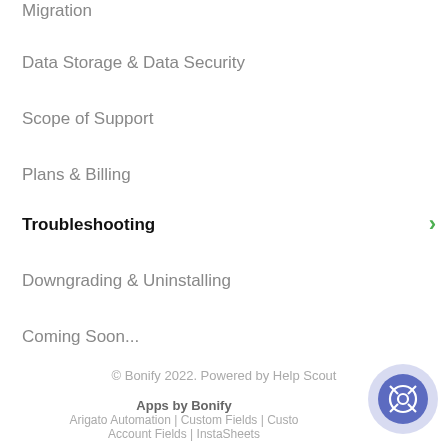Migration
Data Storage & Data Security
Scope of Support
Plans & Billing
Troubleshooting
Downgrading & Uninstalling
Coming Soon...
© Bonify 2022. Powered by Help Scout
Apps by Bonify
Arigato Automation | Custom Fields | Custom Account Fields | InstaSheets